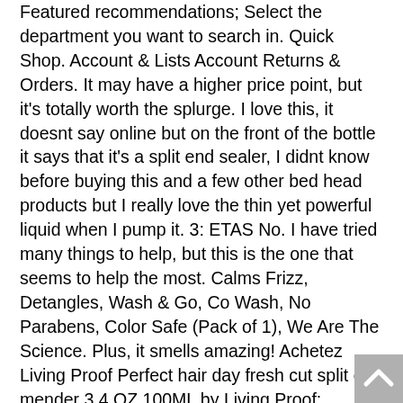Featured recommendations; Select the department you want to search in. Quick Shop. Account & Lists Account Returns & Orders. It may have a higher price point, but it's totally worth the splurge. I love this, it doesnt say online but on the front of the bottle it says that it's a split end sealer, I didnt know before buying this and a few other bed head products but I really love the thin yet powerful liquid when I pump it. 3: ETAS No. I have tried many things to help, but this is the one that seems to help the most. Calms Frizz, Detangles, Wash & Go, Co Wash, No Parabens, Color Safe (Pack of 1), We Are The Science. Plus, it smells amazing! Achetez Living Proof Perfect hair day fresh cut split end mender 3.4 OZ 100ML by Living Proof: Amazon.fr Livraison & retours gratuits possibles (voir conditions) Shop Living Proof Phd Fresh Cut Split End Mender. Split end treatments help prevent splitting and treat existing ones to keep your hair health at its best. If you searching to check on Gucci Tiger Socks And Living Proof Fresh Cut Split End Mender price. Under $25; $25 to $50; $50 to $100; $100 to $200; $200 & Above $ $ ... TIGI Bed Head Ego Boost Split End Mender Leave in Conditioner, 8.0 Ounce. Instagram; Facebook; YouTube; Twitter; living proof. Try Prime. YAY! Perfect Hair Day Fresh Cut Split End Mender by Living